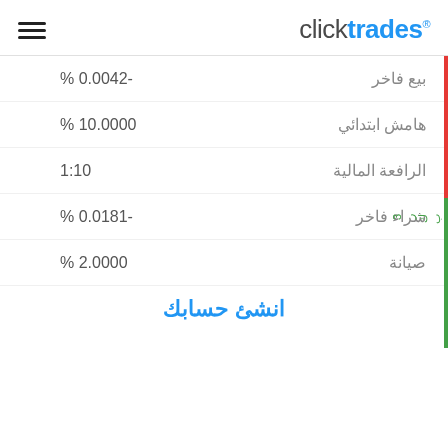clicktrades
| Label | Value |
| --- | --- |
| بيع فاخر | % 0.0042- |
| هامش ابتدائي | % 10.0000 |
| الرافعة المالية | 1:10 |
| شراء فاخر | % 0.0181- |
| صيانة | % 2.0000 |
انشئ حسابك